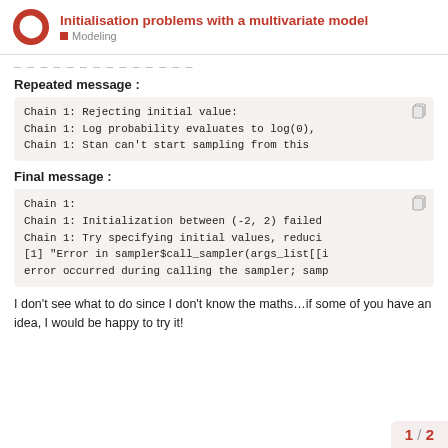Initialisation problems with a multivariate model — Modeling
Chain 1: Rejecting initial value:
Chain 1:    Log probability evaluates to log(0),
Chain 1:    Stan can't start sampling from this
Repeated message :
Chain 1: Rejecting initial value:
Chain 1:    Log probability evaluates to log(0),
Chain 1:    Stan can't start sampling from this
Final message :
Chain 1:
Chain 1: Initialization between (-2, 2) failed
Chain 1:  Try specifying initial values, reduci
[1] "Error in sampler$call_sampler(args_list[[i
error occurred during calling the sampler; samp
I don't see what to do since I don't know the maths…if some of you have an idea, I would be happy to try it!
1 / 2